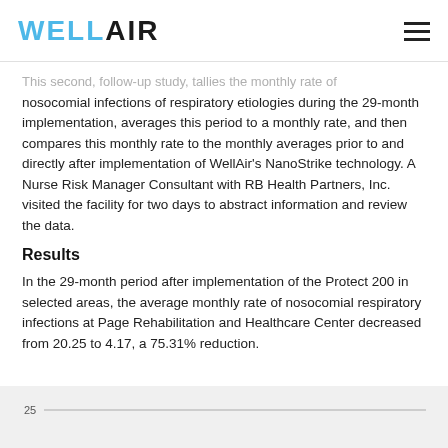WELLAIR
This second, follow-up study, tallies the monthly rate of nosocomial infections of respiratory etiologies during the 29-month implementation, averages this period to a monthly rate, and then compares this monthly rate to the monthly averages prior to and directly after implementation of WellAir's NanoStrike technology. A Nurse Risk Manager Consultant with RB Health Partners, Inc. visited the facility for two days to abstract information and review the data.
Results
In the 29-month period after implementation of the Protect 200 in selected areas, the average monthly rate of nosocomial respiratory infections at Page Rehabilitation and Healthcare Center decreased from 20.25 to 4.17, a 75.31% reduction.
[Figure (line-chart): Partial view of a line chart with y-axis value 25 visible at the bottom of the page]